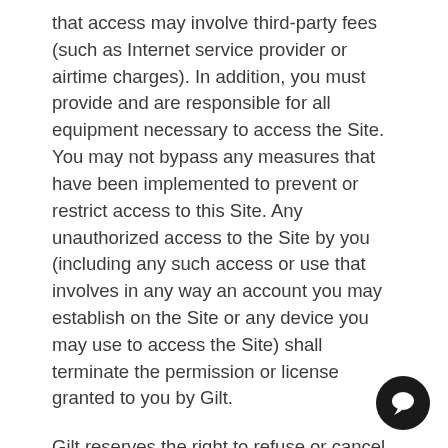that access may involve third-party fees (such as Internet service provider or airtime charges). In addition, you must provide and are responsible for all equipment necessary to access the Site. You may not bypass any measures that have been implemented to prevent or restrict access to this Site. Any unauthorized access to the Site by you (including any such access or use that involves in any way an account you may establish on the Site or any device you may use to access the Site) shall terminate the permission or license granted to you by Gilt.
Gilt reserves the right to refuse or cancel any person's registration for this Site, remove any person from this Site and prohibit any person from using this Site for any reason whatsoever, and to limit or terminate your access to or use of the Site at any time without notice. Gilt neither warrants nor represents that your use of the content available on this Site will not infringe rights of third parties not affiliated with Gilt. Termination of your access or use will not waive or